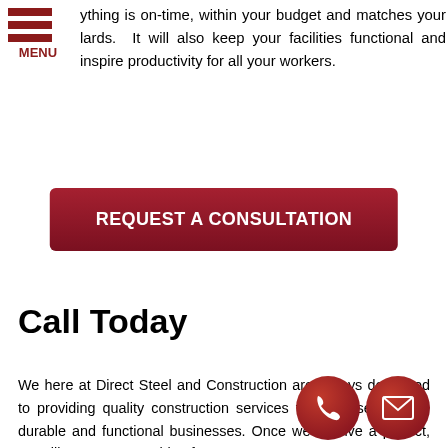MENU
ything is on-time, within your budget and matches your lards. It will also keep your facilities functional and inspire productivity for all your workers.
REQUEST A CONSULTATION
Call Today
We here at Direct Steel and Construction are always dedicated to providing quality construction services to all those needing durable and functional businesses. Once we receive a project, we will manage everything for